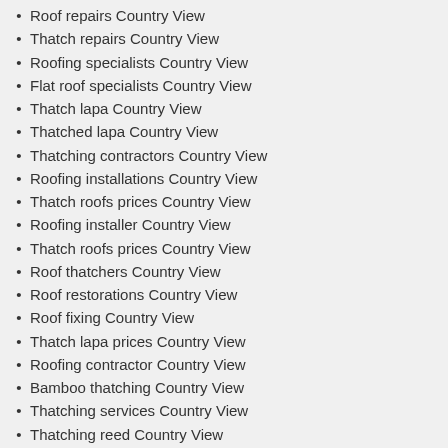Roof repairs Country View
Thatch repairs Country View
Roofing specialists Country View
Flat roof specialists Country View
Thatch lapa Country View
Thatched lapa Country View
Thatching contractors Country View
Roofing installations Country View
Thatch roofs prices Country View
Roofing installer Country View
Thatch roofs prices Country View
Roof thatchers Country View
Roof restorations Country View
Roof fixing Country View
Thatch lapa prices Country View
Roofing contractor Country View
Bamboo thatching Country View
Thatching services Country View
Thatching reed Country View
Thatched lapa prices Country View
Thatched garden gazebos Country View
Roofing repairs Country View
Roof repairs company Country View
Thatch roof maintenance Country View
Thatching installations installers Country View
Thatching prices Country View
Slate roofing repairs Country View